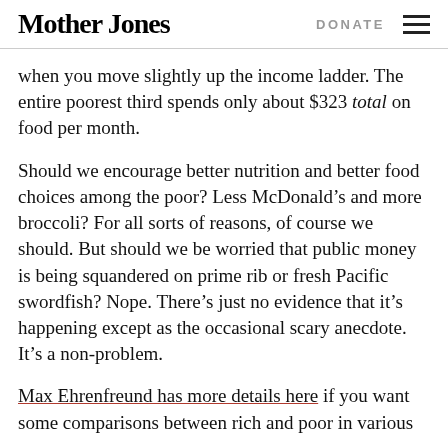Mother Jones | DONATE
when you move slightly up the income ladder. The entire poorest third spends only about $323 total on food per month.
Should we encourage better nutrition and better food choices among the poor? Less McDonald’s and more broccoli? For all sorts of reasons, of course we should. But should we be worried that public money is being squandered on prime rib or fresh Pacific swordfish? Nope. There’s just no evidence that it’s happening except as the occasional scary anecdote. It’s a non-problem.
Max Ehrenfreund has more details here if you want some comparisons between rich and poor in various